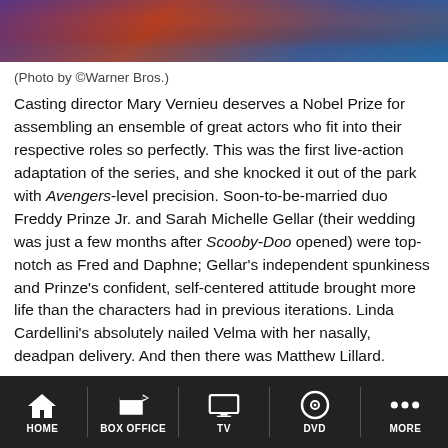[Figure (photo): Partial photo strip showing colorful characters, purple, red/orange, and blue clothing visible at the bottom of a cropped image]
(Photo by ©Warner Bros.)
Casting director Mary Vernieu deserves a Nobel Prize for assembling an ensemble of great actors who fit into their respective roles so perfectly. This was the first live-action adaptation of the series, and she knocked it out of the park with Avengers-level precision. Soon-to-be-married duo Freddy Prinze Jr. and Sarah Michelle Gellar (their wedding was just a few months after Scooby-Doo opened) were top-notch as Fred and Daphne; Gellar's independent spunkiness and Prinze's confident, self-centered attitude brought more life than the characters had in previous iterations. Linda Cardellini's absolutely nailed Velma with her nasally, deadpan delivery. And then there was Matthew Lillard.
What can one say about Matthew Lillard's performance as Shaggy? Despite the film's negative reviews, Lillard's
HOME | BOX OFFICE | TV | DVD | MORE